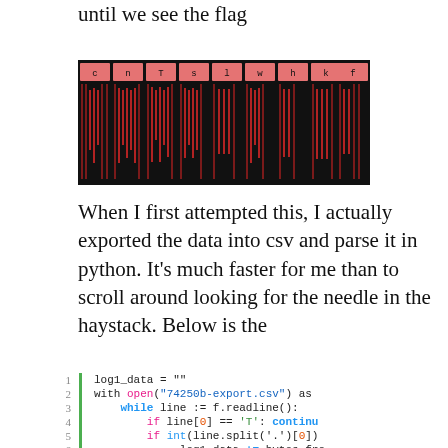until we see the flag
[Figure (screenshot): A horizontal bar visualization on a black background showing labeled columns (c, n, T, s, l, w, h, k, f) in pink/salmon color headers, with vertical waveform bars below each column in dark red/maroon.]
When I first attempted this, I actually exported the data into csv and parse it in python. It's much faster for me than to scroll around looking for the needle in the haystack. Below is the
[Figure (screenshot): Code block with syntax highlighting showing Python code:
1  log1_data = ""
2  with open("74250b-export.csv") as
3       while line := f.readline():
4            if line[0] == 'T': continu
5            if int(line.split('.')[0])
6                 log1_data += bytes.fro
7  print(log1_data)]
[Figure (screenshot): Code output block:
1  ...
2  [LOG] Connection from 099319f700d8]